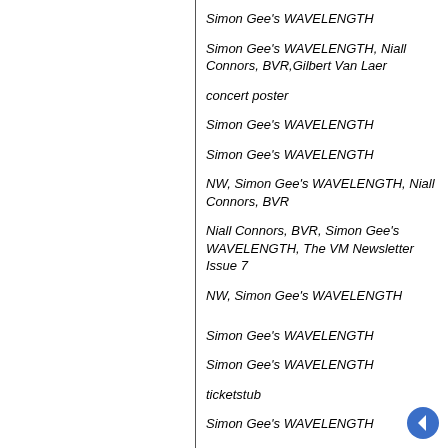Simon Gee's WAVELENGTH
Simon Gee's WAVELENGTH, Niall Connors, BVR,Gilbert Van Laer
concert poster
Simon Gee's WAVELENGTH
Simon Gee's WAVELENGTH
NW, Simon Gee's WAVELENGTH, Niall Connors, BVR
Niall Connors, BVR, Simon Gee's WAVELENGTH, The VM Newsletter Issue 7
NW, Simon Gee's WAVELENGTH
Simon Gee's WAVELENGTH
Simon Gee's WAVELENGTH
ticketstub
Simon Gee's WAVELENGTH
Simon Gee's WAVELENGTH